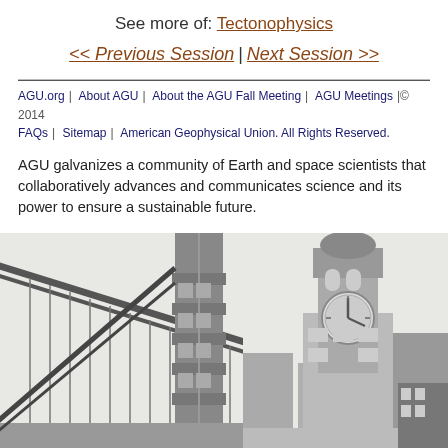See more of: Tectonophysics
<< Previous Session | Next Session >>
AGU.org | About AGU | About the AGU Fall Meeting | AGU Meetings FAQs | Sitemap | © 2014 American Geophysical Union. All Rights Reserved.
AGU galvanizes a community of Earth and space scientists that collaboratively advances and communicates science and its power to ensure a sustainable future.
[Figure (photo): Black and white illustration of the Golden Gate Bridge cables and tower from below, dramatic angle]
[Figure (photo): Black and white illustration of San Francisco Ferry Building clock tower]